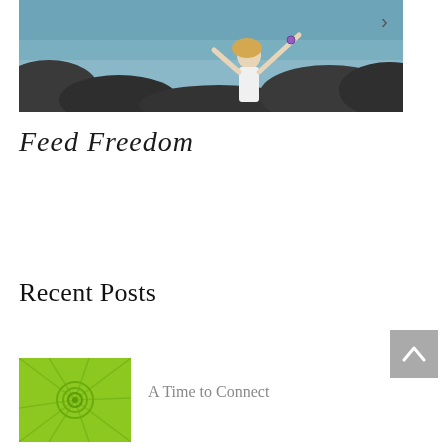[Figure (photo): Woman with arms raised at a rocky ocean shore, blonde hair, white top, wearing bracelets. Nature/freedom lifestyle image. Arrow chevron visible on right side.]
Feed Freedom
Recent Posts
[Figure (photo): Close-up photo of a bright lime green leaf or plant, spiral/curl in center, textured surface.]
A Time to Connect